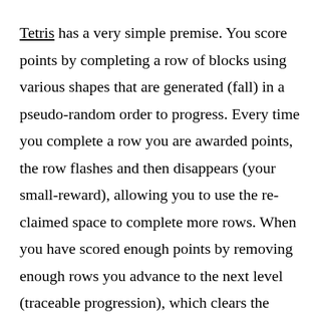Tetris has a very simple premise. You score points by completing a row of blocks using various shapes that are generated (fall) in a pseudo-random order to progress. Every time you complete a row you are awarded points, the row flashes and then disappears (your small-reward), allowing you to use the re-claimed space to complete more rows. When you have scored enough points by removing enough rows you advance to the next level (traceable progression), which clears the whole screen (your big reward), and increases the difficulty (genuine testing). Tetris is perhaps one of the most obviously repetitive games in existence but Tetris combats this with two further sub-systems. A high-score leaderboard